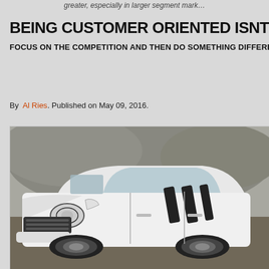greater, especially in larger segment mark…
BEING CUSTOMER ORIENTED ISNT THE BEST MARK…
FOCUS ON THE COMPETITION AND THEN DO SOMETHING DIFFERENT
By Al Ries. Published on May 09, 2016.
[Figure (photo): White SUV / crossover vehicle photographed at an angle showing the front and driver side, against a rocky/dusty background]